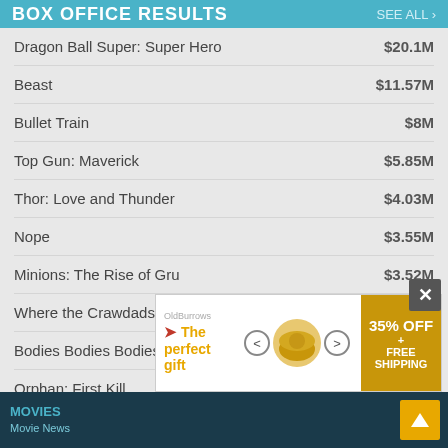BOX OFFICE RESULTS   SEE ALL
Dragon Ball Super: Super Hero   $20.1M
Beast   $11.57M
Bullet Train   $8M
Top Gun: Maverick   $5.85M
Thor: Love and Thunder   $4.03M
Nope   $3.55M
Minions: The Rise of Gru   $3.52M
Where the Crawdads Sing   $3.15M
Bodies Bodies Bodies   $2.41M
Orphan: First Kill   $1.68M
MOVIES
Movie News
[Figure (screenshot): Advertisement banner with close button showing 'The perfect gift' with food product image and 35% OFF + FREE SHIPPING promo]